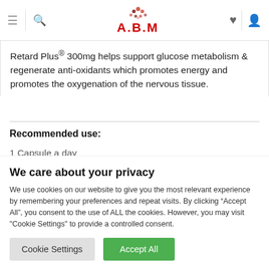A.B.M website header with logo and navigation icons
Retard Plus® 300mg helps support glucose metabolism & regenerate anti-oxidants which promotes energy and promotes the oxygenation of the nervous tissue.
Recommended use:
1 Capsule a day
We care about your privacy
We use cookies on our website to give you the most relevant experience by remembering your preferences and repeat visits. By clicking "Accept All", you consent to the use of ALL the cookies. However, you may visit "Cookie Settings" to provide a controlled consent.
Cookie Settings | Accept All